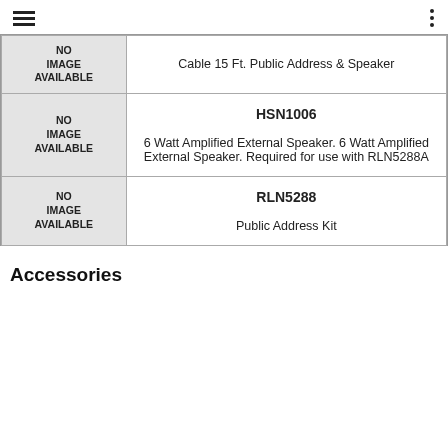≡  ⋮
| Image | Part / Description |
| --- | --- |
| NO IMAGE AVAILABLE | Cable 15 Ft. Public Address & Speaker |
| NO IMAGE AVAILABLE | HSN1006
6 Watt Amplified External Speaker. 6 Watt Amplified External Speaker. Required for use with RLN5288A |
| NO IMAGE AVAILABLE | RLN5288
Public Address Kit |
Accessories